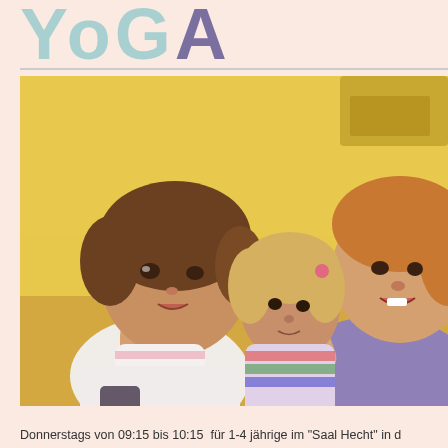YOGA
[Figure (photo): Three toddlers (approximately 1-4 years old) looking upward with curious expressions in a room with yellow walls. One child in the foreground has brown hair and wears a white shirt, a second child in the middle background has lighter hair, and a third child on the right wears a purple shirt.]
Donnerstags von 09:15 bis 10:15  für 1-4 jährige im "Saal Hecht" in d